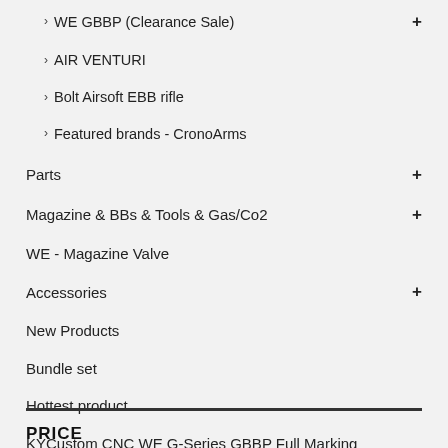WE GBBP (Clearance Sale)
AIR VENTURI
Bolt Airsoft EBB rifle
Featured brands - CronoArms
Parts
Magazine & BBs & Tools & Gas/Co2
WE - Magazine Valve
Accessories
New Products
Bundle set
Hottest product
KYCustom CNC WE G-Series GBBP Full Marking
CERAKOTE SERVICE
GEAR
PRICE